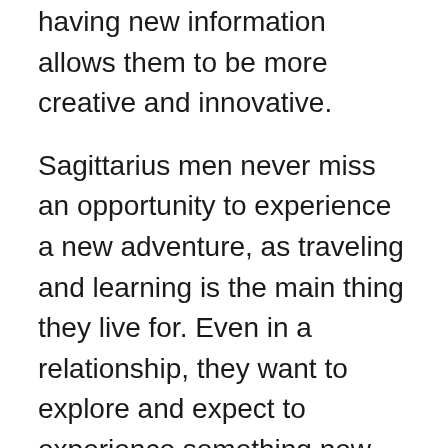having new information allows them to be more creative and innovative.
Sagittarius men never miss an opportunity to experience a new adventure, as traveling and learning is the main thing they live for. Even in a relationship, they want to explore and expect to experience something new and meaningful chapters of life.
Honest
Regarding trust, the Sagittarius man can be one of the most trustworthy zodiacs. They don't like to lie and don't like being lied to. So, they tend to be honest and genuine to others and themselves. No matter how bitter the truth